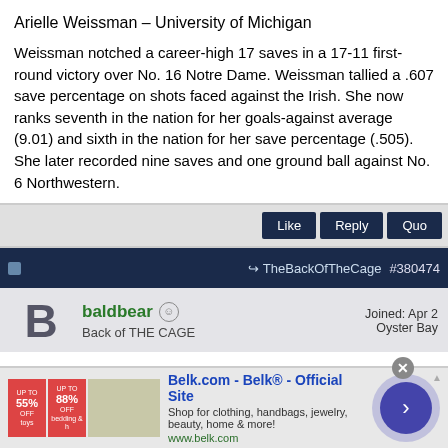Arielle Weissman – University of Michigan
Weissman notched a career-high 17 saves in a 17-11 first-round victory over No. 16 Notre Dame. Weissman tallied a .607 save percentage on shots faced against the Irish. She now ranks seventh in the nation for her goals-against average (9.01) and sixth in the nation for her save percentage (.505). She later recorded nine saves and one ground ball against No. 6 Northwestern.
Like  Reply  Quo[te]
TheBackOfTheCage  #380474
baldbear  Back of THE CAGE  Joined: Apr 2  Oyster Bay
Division II Women's Lacrosse Players of the Week 5-16-22
[Figure (screenshot): Advertisement for Belk.com — Belk Official Site. Shop for clothing, handbags, jewelry, beauty, home & more! www.belk.com. Shows product thumbnails and a circular arrow button.]